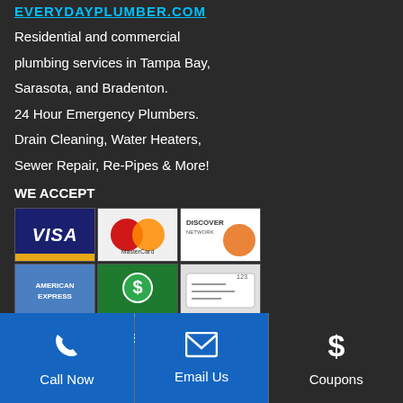EVERYDAYPLUMBER.COM
Residential and commercial plumbing services in Tampa Bay, Sarasota, and Bradenton.
24 Hour Emergency Plumbers.
Drain Cleaning, Water Heaters, Sewer Repair, Re-Pipes & More!
WE ACCEPT
[Figure (infographic): Payment method icons: Visa, MasterCard, Discover Network, American Express, Cash (dollar sign), Check]
License # CFC1428537
TAMPA
Call Now
Email Us
Coupons